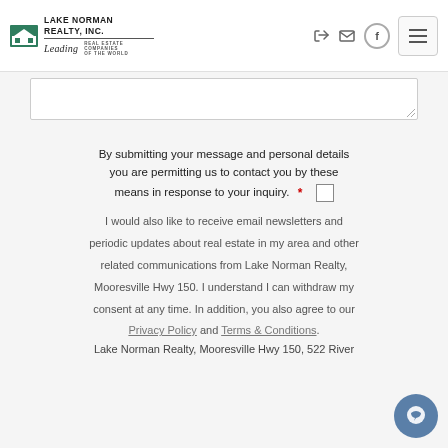Lake Norman Realty, Inc. — Leading Real Estate Companies of the World
By submitting your message and personal details you are permitting us to contact you by these means in response to your inquiry. *
I would also like to receive email newsletters and periodic updates about real estate in my area and other related communications from Lake Norman Realty, Mooresville Hwy 150. I understand I can withdraw my consent at any time. In addition, you also agree to our Privacy Policy and Terms & Conditions.
Lake Norman Realty, Mooresville Hwy 150, 522 River